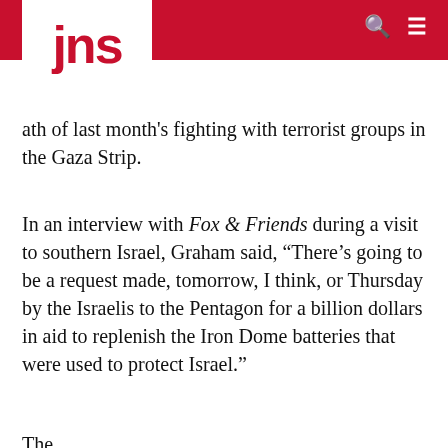JNS
ath of last month's fighting with terrorist groups in the Gaza Strip.
In an interview with Fox & Friends during a visit to southern Israel, Graham said, “There’s going to be a request made, tomorrow, I think, or Thursday by the Israelis to the Pentagon for a billion dollars in aid to replenish the Iron Dome batteries that were used to protect Israel.”
The